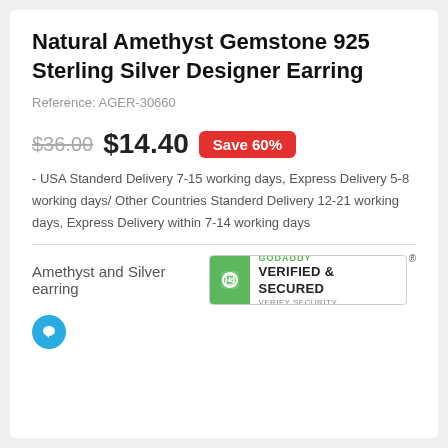Natural Amethyst Gemstone 925 Sterling Silver Designer Earring
Reference: AGER-30660
$36.00  $14.40  Save 60%
- USA Standerd Delivery 7-15 working days, Express Delivery 5-8 working days/ Other Countries Standerd Delivery 12-21 working days, Express Delivery within 7-14 working days
Amethyst and Silver earring
[Figure (logo): GoDaddy Verified & Secured seal badge]